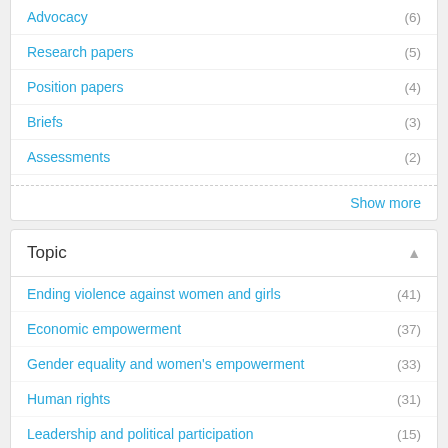Advocacy (6)
Research papers (5)
Position papers (4)
Briefs (3)
Assessments (2)
Show more
Topic
Ending violence against women and girls (41)
Economic empowerment (37)
Gender equality and women's empowerment (33)
Human rights (31)
Leadership and political participation (15)
Convention on the Elimination of All Forms of Discrimination against Women (CEDAW) (14)
Governance and national planning (14)
Safe Cities and Safe Public Spaces (10)